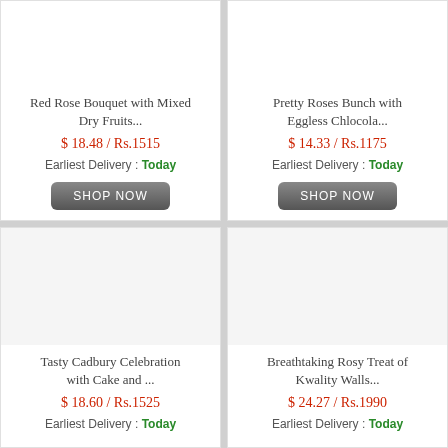Red Rose Bouquet with Mixed Dry Fruits...
$ 18.48 / Rs.1515
Earliest Delivery : Today
SHOP NOW
Pretty Roses Bunch with Eggless Chlocola...
$ 14.33 / Rs.1175
Earliest Delivery : Today
SHOP NOW
[Figure (other): Product image placeholder (white/light gray area) for Tasty Cadbury Celebration with Cake]
Tasty Cadbury Celebration with Cake and ...
$ 18.60 / Rs.1525
Earliest Delivery : Today
[Figure (other): Product image placeholder (white/light gray area) for Breathtaking Rosy Treat of Kwality Walls]
Breathtaking Rosy Treat of Kwality Walls...
$ 24.27 / Rs.1990
Earliest Delivery : Today